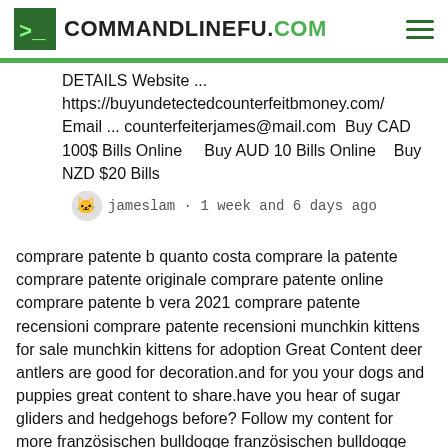COMMANDLINEFU.COM
DETAILS Website ... https://buyundetectedcounterfeitbmoney.com/ Email ... counterfeiterjames@mail.com  Buy CAD 100$ Bills Online    Buy AUD 10 Bills Online   Buy NZD $20 Bills
jameslam · 1 week and 6 days ago
comprare patente b quanto costa comprare la patente comprare patente originale comprare patente online comprare patente b vera 2021 comprare patente recensioni comprare patente recensioni munchkin kittens for sale munchkin kittens for adoption Great Content deer antlers are good for decoration.and for you your dogs and puppies great content to share.have you hear of sugar gliders and hedgehogs before? Follow my content for more französischen bulldogge französischen bulldogge welpen französischen bulldogge welpen kaufen französische bulldoggen